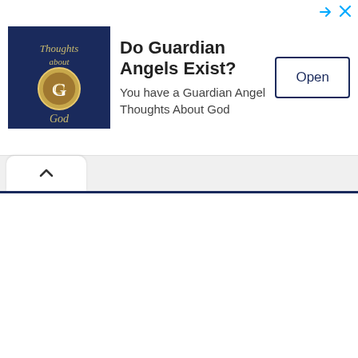[Figure (screenshot): Mobile advertisement banner for 'Thoughts About God' app. Shows a dark navy blue app icon with gold emblem and text 'Thoughts about God', headline 'Do Guardian Angels Exist?', subtext 'You have a Guardian Angel Thoughts About God', and an 'Open' button. Top right has an ad indicator arrow icon and close X button in cyan/blue.]
[Figure (screenshot): Browser UI element: a tab bar with a white rounded tab containing a chevron/up-arrow (^) icon, and a dark navy blue horizontal stripe below it representing a webpage loading bar.]